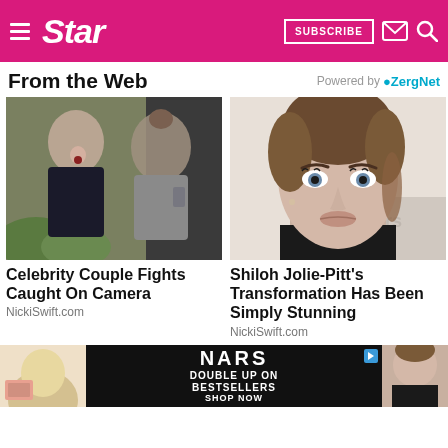Star — SUBSCRIBE
From the Web
Powered by ZergNet
[Figure (photo): Celebrity couple arguing outdoors, woman with open mouth, man with bun hairstyle]
Celebrity Couple Fights Caught On Camera
NickiSwift.com
[Figure (photo): Close-up portrait of young woman with styled hair and makeup, blue eyes]
Shiloh Jolie-Pitt's Transformation Has Been Simply Stunning
NickiSwift.com
[Figure (photo): NARS advertisement: Double Up On Bestsellers Shop Now, with product and model photos]